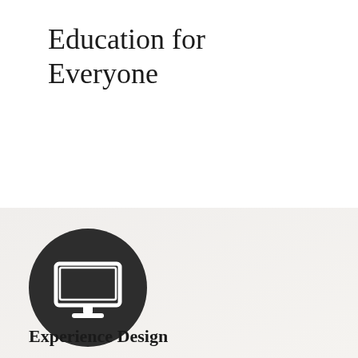Education for Everyone
[Figure (illustration): Dark circular icon with a white computer monitor/desktop display symbol in the center]
Experience Design